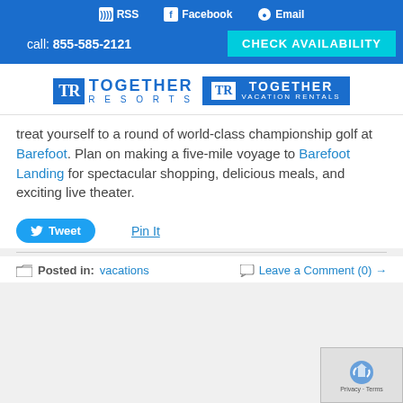RSS  Facebook  Email
call: 855-585-2121  CHECK AVAILABILITY
[Figure (logo): Together Resorts and Together Vacation Rentals logos side by side]
treat yourself to a round of world-class championship golf at Barefoot. Plan on making a five-mile voyage to Barefoot Landing for spectacular shopping, delicious meals, and exciting live theater.
Tweet   Pin It
Posted in: vacations   Leave a Comment (0) →